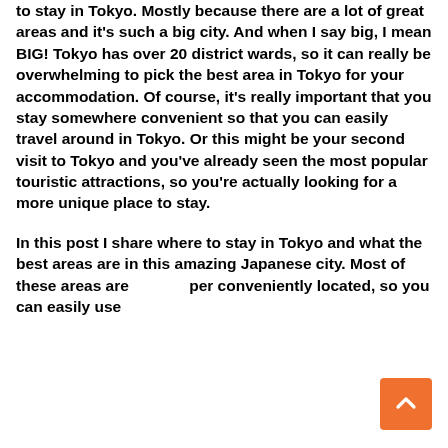to stay in Tokyo. Mostly because there are a lot of great areas and it's such a big city. And when I say big, I mean BIG! Tokyo has over 20 district wards, so it can really be overwhelming to pick the best area in Tokyo for your accommodation. Of course, it's really important that you stay somewhere convenient so that you can easily travel around in Tokyo. Or this might be your second visit to Tokyo and you've already seen the most popular touristic attractions, so you're actually looking for a more unique place to stay.
In this post I share where to stay in Tokyo and what the best areas are in this amazing Japanese city. Most of these areas are super conveniently located, so you can easily use